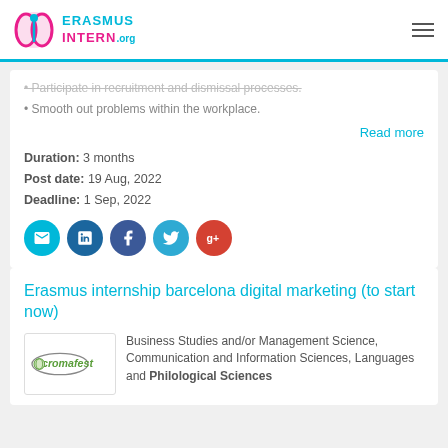ERASMUS INTERN.org
Participate in recruitment and dismissal processes.
Smooth out problems within the workplace.
Read more
Duration: 3 months
Post date: 19 Aug, 2022
Deadline: 1 Sep, 2022
[Figure (infographic): Social sharing icons: email, LinkedIn, Facebook, Twitter, Google+]
Erasmus internship barcelona digital marketing (to start now)
Business Studies and/or Management Science, Communication and Information Sciences, Languages and Philological Sciences